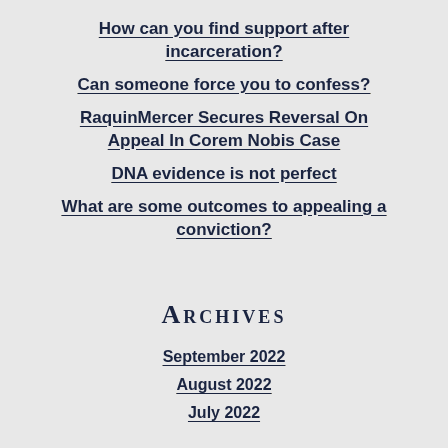How can you find support after incarceration?
Can someone force you to confess?
RaquinMercer Secures Reversal On Appeal In Corem Nobis Case
DNA evidence is not perfect
What are some outcomes to appealing a conviction?
Archives
September 2022
August 2022
July 2022